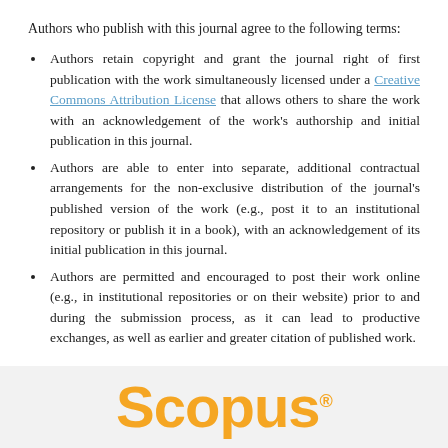Authors who publish with this journal agree to the following terms:
Authors retain copyright and grant the journal right of first publication with the work simultaneously licensed under a Creative Commons Attribution License that allows others to share the work with an acknowledgement of the work's authorship and initial publication in this journal.
Authors are able to enter into separate, additional contractual arrangements for the non-exclusive distribution of the journal's published version of the work (e.g., post it to an institutional repository or publish it in a book), with an acknowledgement of its initial publication in this journal.
Authors are permitted and encouraged to post their work online (e.g., in institutional repositories or on their website) prior to and during the submission process, as it can lead to productive exchanges, as well as earlier and greater citation of published work.
[Figure (logo): Scopus logo in orange text on light grey background]